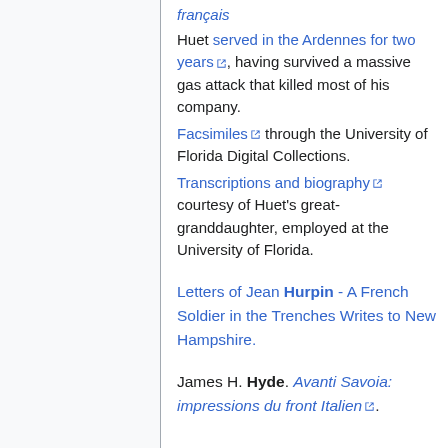français
Huet served in the Ardennes for two years, having survived a massive gas attack that killed most of his company.
Facsimiles through the University of Florida Digital Collections.
Transcriptions and biography courtesy of Huet's great-granddaughter, employed at the University of Florida.
Letters of Jean Hurpin - A French Soldier in the Trenches Writes to New Hampshire.
James H. Hyde. Avanti Savoia: impressions du front Italien.